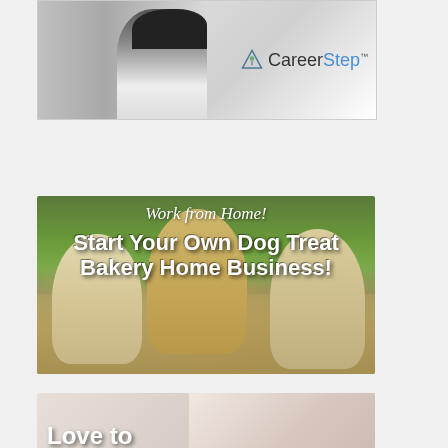[Figure (photo): CareerStep advertisement banner showing a woman in a white coat and the CareerStep logo with mountain icon]
[Figure (photo): Advertisement showing three dogs looking up with text 'Work from Home! Start Your Own Dog Treat Bakery Home Business!']
[Figure (photo): Advertisement showing a woman with glasses and text beginning 'Love to...']